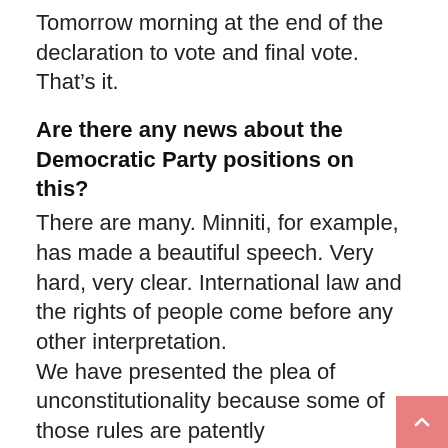Tomorrow morning at the end of the declaration to vote and final vote. That’s it.
Are there any news about the Democratic Party positions on this?
There are many. Minniti, for example, has made a beautiful speech. Very hard, very clear. International law and the rights of people come before any other interpretation.
We have presented the plea of unconstitutionality because some of those rules are patently unconstitutional, and of course by force of numbers they rejected it. So the matter is closed. You know in the game of politics when the government asks for the vote of confidence, every game is